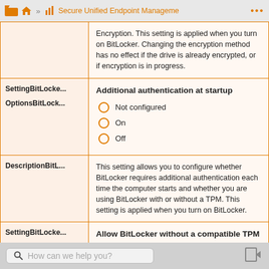Home » Secure Unified Endpoint Management
| Setting/Options/Description | Value/Description |
| --- | --- |
|  | Encryption. This setting is applied when you turn on BitLocker. Changing the encryption method has no effect if the drive is already encrypted, or if encryption is in progress. |
| SettingBitLocke...
OptionsBitLock... | Additional authentication at startup
[Radio: Not configured, On, Off] |
| DescriptionBitL... | This setting allows you to configure whether BitLocker requires additional authentication each time the computer starts and whether you are using BitLocker with or without a TPM. This setting is applied when you turn on BitLocker. |
| SettingBitLocke... | Allow BitLocker without a compatible TPM |